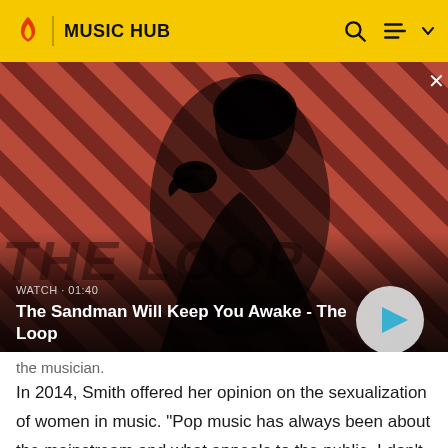MUSIC HUB
[Figure (screenshot): Video thumbnail showing a dark-clad figure with a raven on shoulder against a red diagonal-striped background. Text overlay: WATCH · 01:40 / The Sandman Will Keep You Awake - The Loop. Play button visible bottom-right.]
the musician.
In 2014, Smith offered her opinion on the sexualization of women in music. "Pop music has always been about the mainstream and what appeals to the public. I don't feel it's my place to judge." As at points earlier in her life and